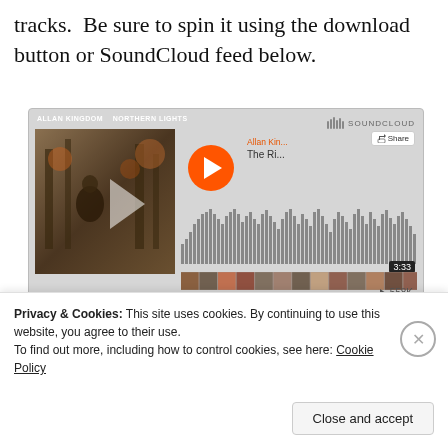tracks.  Be sure to spin it using the download button or SoundCloud feed below.
[Figure (screenshot): SoundCloud embedded player showing Allan Kingdom - The Ride, with album art, waveform, play button, share button, 558K plays, and duration 3:33]
Allan Kingdom - The Ride (Video in Description)  ▶ 558K
[Figure (screenshot): Orange 'Play on SoundCloud' button]
Privacy & Cookies: This site uses cookies. By continuing to use this website, you agree to their use.
To find out more, including how to control cookies, see here: Cookie Policy
Close and accept